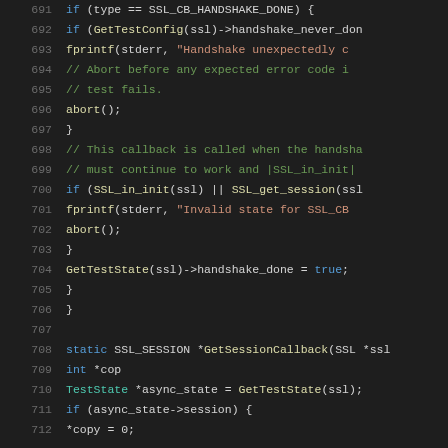[Figure (screenshot): Source code listing in a dark-themed code editor showing C++ code lines 691-712 with syntax highlighting. Line numbers in gray, keywords in blue, strings in orange/red, comments in green, function names in yellow, types in teal.]